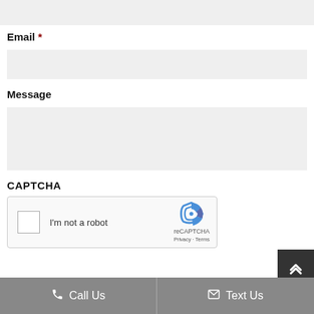[Figure (screenshot): Top portion of a form input field (partially visible, gray background)]
Email *
[Figure (screenshot): Email input field, gray background, empty]
Message
[Figure (screenshot): Message textarea input field, gray background, empty]
CAPTCHA
[Figure (screenshot): reCAPTCHA widget with checkbox labeled 'I'm not a robot' and reCAPTCHA logo with Privacy and Terms links]
Call Us   Text Us